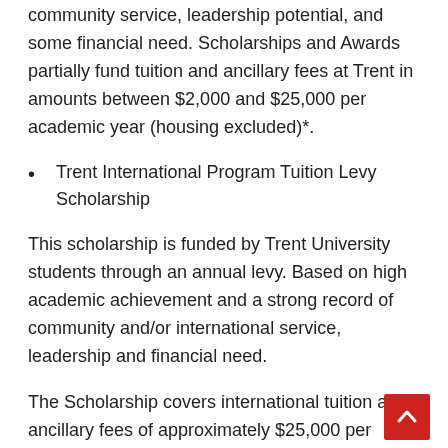community service, leadership potential, and some financial need. Scholarships and Awards partially fund tuition and ancillary fees at Trent in amounts between $2,000 and $25,000 per academic year (housing excluded)*.
Trent International Program Tuition Levy Scholarship
This scholarship is funded by Trent University students through an annual levy. Based on high academic achievement and a strong record of community and/or international service, leadership and financial need.
The Scholarship covers international tuition and ancillary fees of approximately $25,000 per academic year (housing excluded).